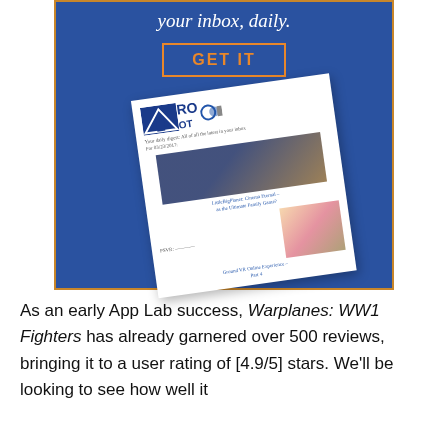[Figure (screenshot): Blue banner advertisement with orange border, italic white text 'your inbox, daily.', an orange-outlined 'GET IT' button, and a tilted newsletter preview showing a logo, article images, and links.]
As an early App Lab success, Warplanes: WW1 Fighters has already garnered over 500 reviews, bringing it to a user rating of [4.9/5] stars. We'll be looking to see how well it